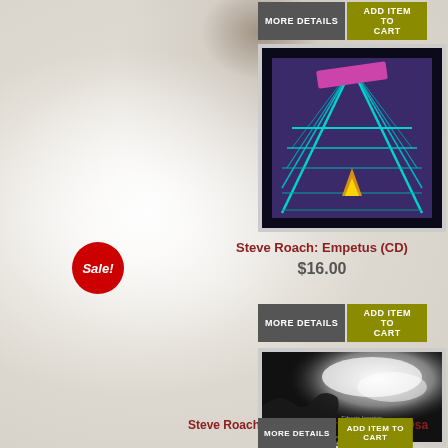[Figure (screenshot): E-commerce product listing page with textured stone/plaster background. Shows two CD products by Steve Roach with album covers, prices, and Add to Cart buttons.]
Sale!
MORE DETAILS
ADD ITEM TO CART
[Figure (photo): Album cover for Steve Roach: Empetus - dark background with geometric purple/teal grid lines forming a triangular pyramid shape with pink bar at top]
Steve Roach: Empetus (CD)
$16.00
MORE DETAILS
ADD ITEM TO CART
[Figure (photo): Album cover for Steve Roach: Etheric Imprints - black and white moody sky/cloud photograph with small text reading Etheric Imprints Steve Roach]
Steve Roach: Etheric Imprints (CD) #CDsa
$17.00 $12.00
MORE DETAILS
ADD ITEM TO CART